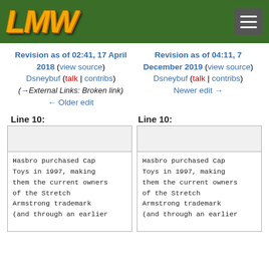LMW (logo) with hamburger menu on green background
Revision as of 02:41, 17 April 2018 (view source)
Dsneybuf (talk | contribs)
(→External Links: Broken link)
← Older edit
Revision as of 04:11, 7 December 2019 (view source)
Dsneybuf (talk | contribs)
Newer edit →
Line 10:
Line 10:
Hasbro purchased Cap Toys in 1997, making them the current owners of the Stretch Armstrong trademark (and through an earlier
Hasbro purchased Cap Toys in 1997, making them the current owners of the Stretch Armstrong trademark (and through an earlier